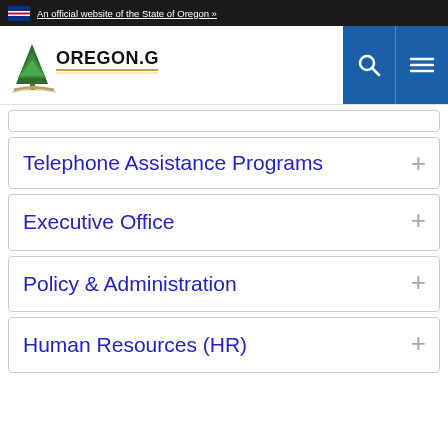An official website of the State of Oregon »
[Figure (logo): Oregon.gov logo with pine tree and state seal]
Telephone Assistance Programs
Executive Office
Policy & Administration
Human Resources (HR)